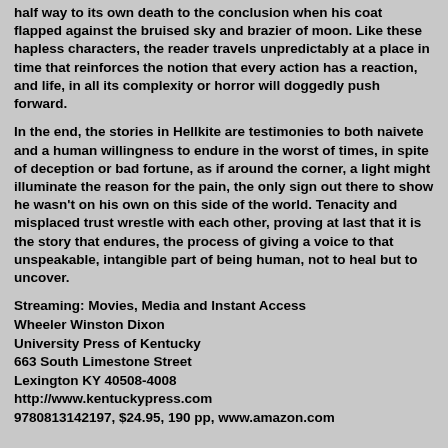half way to its own death to the conclusion when his coat flapped against the bruised sky and brazier of moon. Like these hapless characters, the reader travels unpredictably at a place in time that reinforces the notion that every action has a reaction, and life, in all its complexity or horror will doggedly push forward.
In the end, the stories in Hellkite are testimonies to both naivete and a human willingness to endure in the worst of times, in spite of deception or bad fortune, as if around the corner, a light might illuminate the reason for the pain, the only sign out there to show he wasn't on his own on this side of the world. Tenacity and misplaced trust wrestle with each other, proving at last that it is the story that endures, the process of giving a voice to that unspeakable, intangible part of being human, not to heal but to uncover.
Streaming: Movies, Media and Instant Access
Wheeler Winston Dixon
University Press of Kentucky
663 South Limestone Street
Lexington KY 40508-4008
http://www.kentuckypress.com
9780813142197, $24.95, 190 pp, www.amazon.com